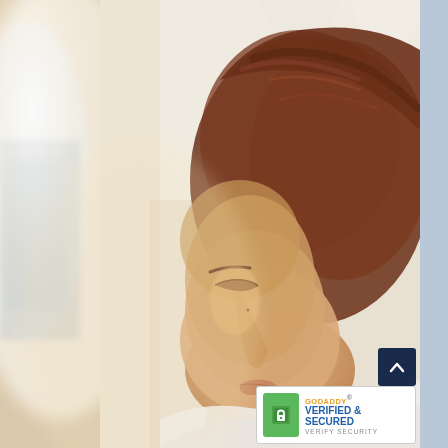[Figure (photo): A woman lying down with eyes closed, head tilted back slightly, appearing relaxed or resting. She has reddish-brown hair pulled back. The background shows soft white/cream tones suggesting bedding or a spa setting, with a blurred window or light source on the left. The image has a warm, soft-focus aesthetic.]
[Figure (logo): GoDaddy Verified & Secured trust badge. Green square icon with a white padlock symbol. Text reads 'GODADDY' in orange, 'VERIFIED & SECURED' in blue bold text, and 'VERIFY SECURITY' in small gray text below. Registered trademark symbol in top right corner.]